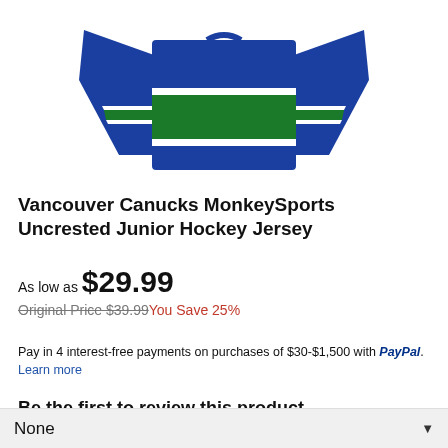[Figure (photo): Blue and green Vancouver Canucks hockey jersey, upper body/torso view, with white stripe accents between the blue and green sections, long sleeves visible.]
Vancouver Canucks MonkeySports Uncrested Junior Hockey Jersey
As low as $29.99
Original Price $39.99 You Save 25%
Pay in 4 interest-free payments on purchases of $30-$1,500 with PayPal. Learn more
Be the first to review this product
SIGN UP & SAVE!
None